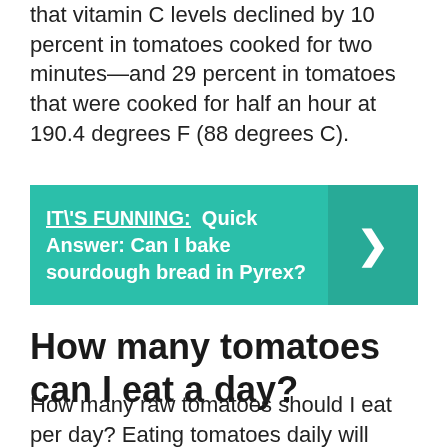that vitamin C levels declined by 10 percent in tomatoes cooked for two minutes—and 29 percent in tomatoes that were cooked for half an hour at 190.4 degrees F (88 degrees C).
[Figure (infographic): Green callout box with link text 'IT\'S FUNNING: Quick Answer: Can I bake sourdough bread in Pyrex?' and a right-arrow button on the right side]
How many tomatoes can I eat a day?
How many raw tomatoes should I eat per day? Eating tomatoes daily will provide you with many vitamins and minerals, but you'll still receive the benefits if you eat them less